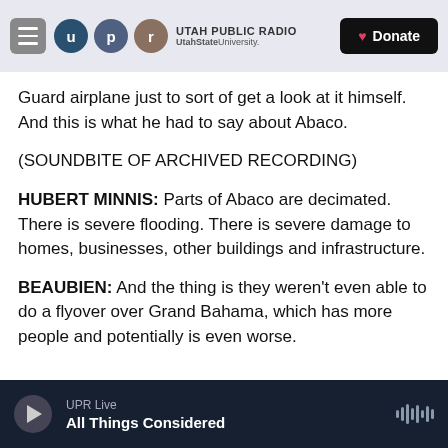[Figure (screenshot): Utah Public Radio website header with hamburger menu, UPR logo circles (u, p, r), Utah Public Radio / UtahState University text, and a Donate button]
Guard airplane just to sort of get a look at it himself. And this is what he had to say about Abaco.
(SOUNDBITE OF ARCHIVED RECORDING)
HUBERT MINNIS: Parts of Abaco are decimated. There is severe flooding. There is severe damage to homes, businesses, other buildings and infrastructure.
BEAUBIEN: And the thing is they weren't even able to do a flyover over Grand Bahama, which has more people and potentially is even worse.
UPR Live  All Things Considered